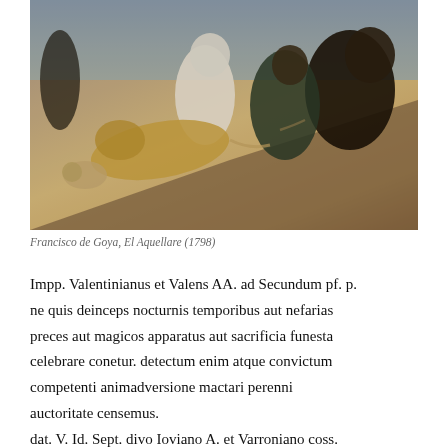[Figure (illustration): Painting by Francisco de Goya depicting reclining and crouching figures in a dark, earthy scene]
Francisco de Goya, El Aquellare (1798)
Impp. Valentinianus et Valens AA. ad Secundum pf. p. ne quis deinceps nocturnis temporibus aut nefarias preces aut magicos apparatus aut sacrificia funesta celebrare conetur. detectum enim atque convictum competenti animadversione mactari perenni auctoritate censemus.
dat. V. Id. Sept. divo Ioviano A. et Varroniano coss.